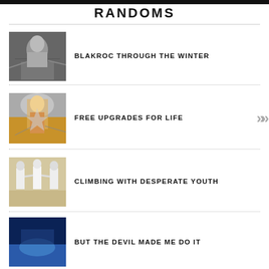RANDOMS
[Figure (photo): Black and white photo of a person dancing or jumping with arms spread]
BLAKROC THROUGH THE WINTER
[Figure (photo): Photo of tennis player mid-action on court with crowd in background]
FREE UPGRADES FOR LIFE
[Figure (photo): Photo of three people in white outfits holding hands outdoors]
CLIMBING WITH DESPERATE YOUTH
[Figure (photo): Partial photo with blue tones at bottom of page]
BUT THE DEVIL MADE ME DO IT